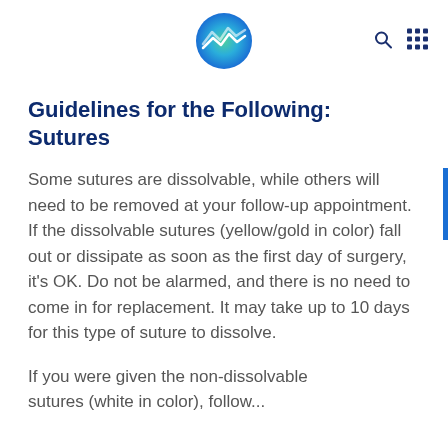[Figure (logo): Circular logo with mountain/wave design in green and blue gradient]
Guidelines for the Following: Sutures
Some sutures are dissolvable, while others will need to be removed at your follow-up appointment. If the dissolvable sutures (yellow/gold in color) fall out or dissipate as soon as the first day of surgery, it's OK. Do not be alarmed, and there is no need to come in for replacement. It may take up to 10 days for this type of suture to dissolve.
If you were given the non-dissolvable sutures (white in color), follow...